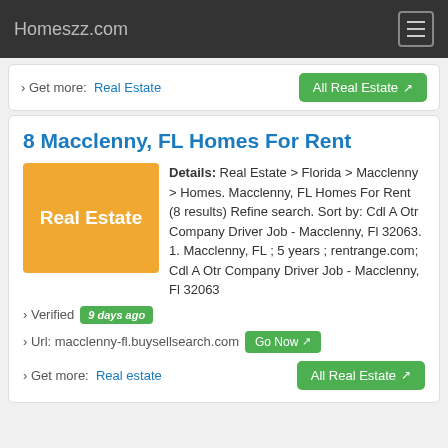Homeszz.com
› Get more:  Real Estate
All Real Estate ↗
8 Macclenny, FL Homes For Rent
[Figure (other): Orange Real Estate placeholder image with text 'Real Estate']
Details: Real Estate > Florida > Macclenny > Homes. Macclenny, FL Homes For Rent (8 results) Refine search. Sort by: Cdl A Otr Company Driver Job - Macclenny, Fl 32063. 1. Macclenny, FL ; 5 years ; rentrange.com; Cdl A Otr Company Driver Job - Macclenny, Fl 32063
› Verified  9 days ago
› Url: macclenny-fl.buysellsearch.com  Go Now ↗
› Get more:  Real estate
All Real Estate ↗